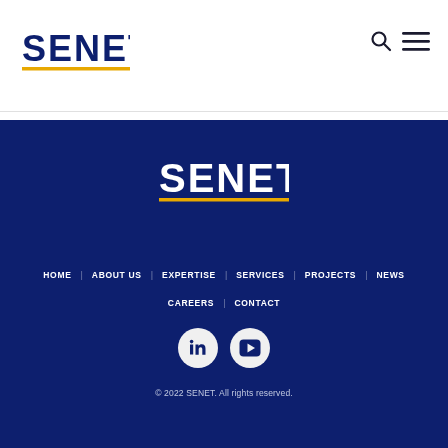[Figure (logo): SENET company logo in dark navy blue with yellow underline, shown in page header]
[Figure (logo): SENET company logo in white text with yellow underline, shown in dark blue footer section]
HOME | ABOUT US | EXPERTISE | SERVICES | PROJECTS | NEWS | CAREERS | CONTACT
© 2022 SENET. All rights reserved.